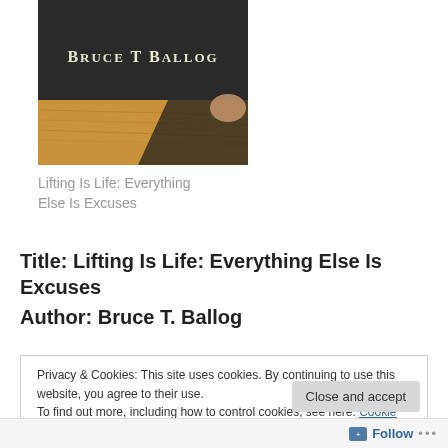[Figure (photo): Book cover showing 'BRUCE T BALLOG' text on dark cover, with wood surface visible underneath]
Lifting Is Life: Everything Else Is Excuses
Title: Lifting Is Life: Everything Else Is Excuses
Author: Bruce T. Ballog
Privacy & Cookies: This site uses cookies. By continuing to use this website, you agree to their use.
To find out more, including how to control cookies, see here: Cookie Policy
Close and accept
Follow ...